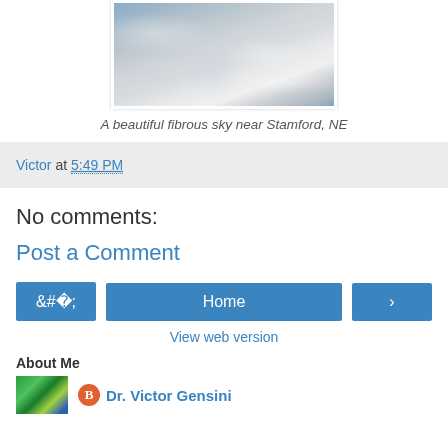[Figure (photo): A photo of a fibrous cloudy sky, dramatic wispy cloud formations against blue sky near Stamford, NE]
A beautiful fibrous sky near Stamford, NE
Victor at 5:49 PM
No comments:
Post a Comment
‹ Home ›
View web version
About Me
Dr. Victor Gensini